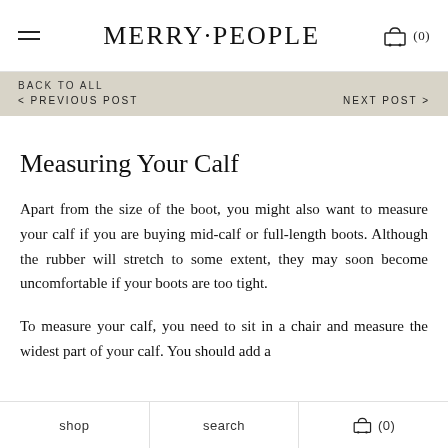MERRY·PEOPLE
BACK TO ALL
< PREVIOUS POST   NEXT POST >
Measuring Your Calf
Apart from the size of the boot, you might also want to measure your calf if you are buying mid-calf or full-length boots. Although the rubber will stretch to some extent, they may soon become uncomfortable if your boots are too tight.
To measure your calf, you need to sit in a chair and measure the widest part of your calf. You should add a
shop   search   (0)